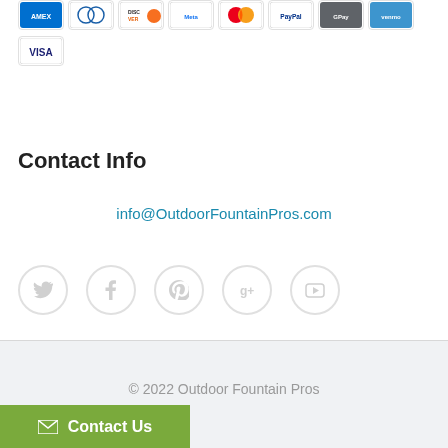[Figure (other): Row of payment method icons: AMEX, Diners Club, Discover, Meta Pay, Mastercard, PayPal, GPay, Venmo, and VISA]
Contact Info
info@OutdoorFountainPros.com
[Figure (other): Row of social media icon circles: Twitter, Facebook, Pinterest, Google+, YouTube]
© 2022 Outdoor Fountain Pros
[Figure (other): Green Contact Us button with envelope icon]